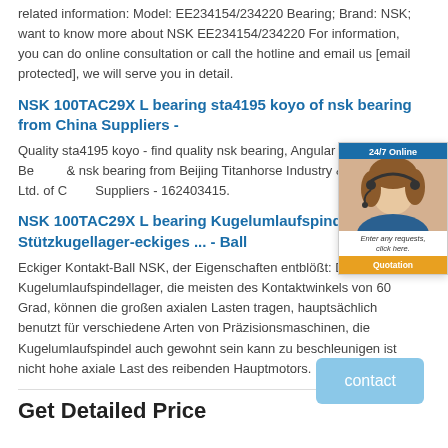related information: Model: EE234154/234220 Bearing; Brand: NSK; want to know more about NSK EE234154/234220 For information, you can do online consultation or call the hotline and email us [email protected], we will serve you in detail.
NSK 100TAC29X L bearing sta4195 koyo of nsk bearing from China Suppliers -
Quality sta4195 koyo - find quality nsk bearing, Angular Contact Ball Bearing & nsk bearing from Beijing Titanhorse Industry & Trading Co., Ltd. of China Suppliers - 162403415.
[Figure (photo): Chat widget showing a woman with headset and 24/7 Online banner with Quotation button]
NSK 100TAC29X L bearing Kugelumlaufspindel-Stützkugellager-eckiges ... - Ball
Eckiger Kontakt-Ball NSK, der Eigenschaften entblößt: Die Kugelumlaufspindellager, die meisten des Kontaktwinkels von 60 Grad, können die großen axialen Lasten tragen, hauptsächlich benutzt für verschiedene Arten von Präzisionsmaschinen, die Kugelumlaufspindel auch gewohnt sein kann zu beschleunigen ist nicht hohe axiale Last des reibenden Hauptmotors.
Get Detailed Price